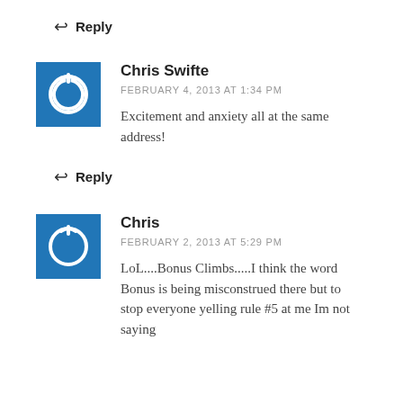↩ Reply
Chris Swifte
FEBRUARY 4, 2013 AT 1:34 PM
Excitement and anxiety all at the same address!
↩ Reply
Chris
FEBRUARY 2, 2013 AT 5:29 PM
LoL....Bonus Climbs.....I think the word Bonus is being misconstrued there but to stop everyone yelling rule #5 at me Im not saying